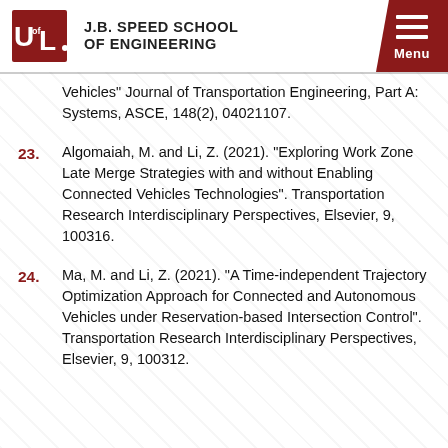J.B. Speed School of Engineering
Vehicles” Journal of Transportation Engineering, Part A: Systems, ASCE, 148(2), 04021107.
23. Algomaiah, M. and Li, Z. (2021). “Exploring Work Zone Late Merge Strategies with and without Enabling Connected Vehicles Technologies”. Transportation Research Interdisciplinary Perspectives, Elsevier, 9, 100316.
24. Ma, M. and Li, Z. (2021). “A Time-independent Trajectory Optimization Approach for Connected and Autonomous Vehicles under Reservation-based Intersection Control”. Transportation Research Interdisciplinary Perspectives, Elsevier, 9, 100312.